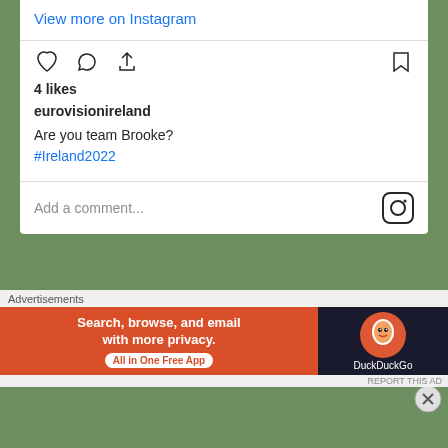View more on Instagram
4 likes
eurovisionireland
Are you team Brooke?
#Ireland2022
Add a comment...
#COMETOGETHER ON TWITTER
A new #ESC & #TRAVEL #VLOG has launched...
Advertisements
[Figure (screenshot): DuckDuckGo advertisement banner: 'Search, browse, and email with more privacy. All in One Free App' with DuckDuckGo logo on dark background]